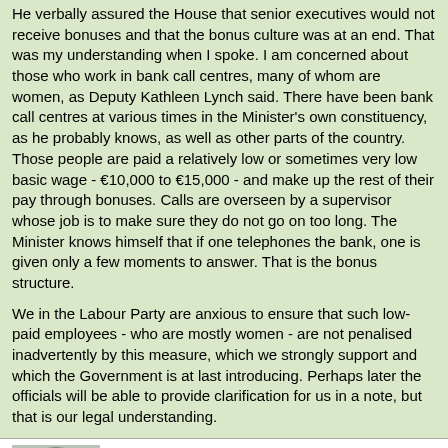He verbally assured the House that senior executives would not receive bonuses and that the bonus culture was at an end. That was my understanding when I spoke. I am concerned about those who work in bank call centres, many of whom are women, as Deputy Kathleen Lynch said. There have been bank call centres at various times in the Minister's own constituency, as he probably knows, as well as other parts of the country. Those people are paid a relatively low or sometimes very low basic wage - €10,000 to €15,000 - and make up the rest of their pay through bonuses. Calls are overseen by a supervisor whose job is to make sure they do not go on too long. The Minister knows himself that if one telephones the bank, one is given only a few moments to answer. That is the bonus structure.
We in the Labour Party are anxious to ensure that such low-paid employees - who are mostly women - are not penalised inadvertently by this measure, which we strongly support and which the Government is at last introducing. Perhaps later the officials will be able to provide clarification for us in a note, but that is our legal understanding.
Pat Carey (Minister, Department of Community, Rural and Gaeltacht Affairs; Minister, Department of Transport; Dublin North West, Fianna Fail)
Link to this: Individually | In context
The information requested by Deputy Burton and, I presume, by others will be made available as quickly as it can be prepared - that is, this afternoon.